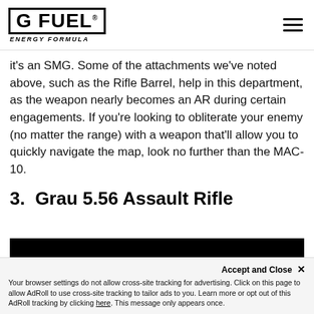GFUEL ENERGY FORMULA
it's an SMG. Some of the attachments we've noted above, such as the Rifle Barrel, help in this department, as the weapon nearly becomes an AR during certain engagements. If you're looking to obliterate your enemy (no matter the range) with a weapon that'll allow you to quickly navigate the map, look no further than the MAC-10.
3. Grau 5.56 Assault Rifle
[Figure (photo): Dark photo of the Grau 5.56 Assault Rifle on a black background, showing the weapon's body and rail system from the side.]
Accept and Close ×
Your browser settings do not allow cross-site tracking for advertising. Click on this page to allow AdRoll to use cross-site tracking to tailor ads to you. Learn more or opt out of this AdRoll tracking by clicking here. This message only appears once.